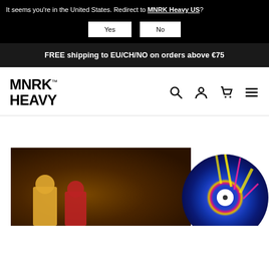It seems you're in the United States. Redirect to MNRK Heavy US?
Yes | No
FREE shipping to EU/CH/NO on orders above €75
[Figure (logo): MNRK HEAVY logo in bold black text with TM mark, navigation icons for search, account, cart, and hamburger menu]
[Figure (photo): Partial view of an album product page showing an album cover with dark brown/rust background with figures, and a blue splatter vinyl record on the right side]